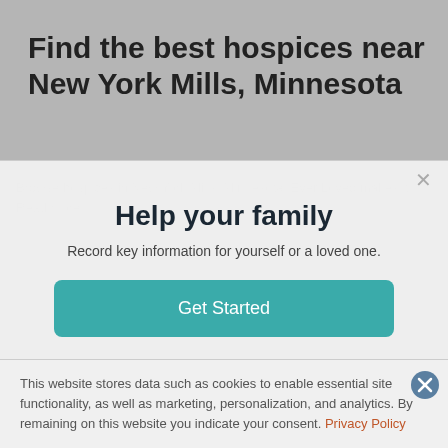Find the best hospices near New York Mills, Minnesota
Browse hospices in New York Mills, Minnesota. Ever Loved makes it... Read more
Browsing 1 - 10 of 10 hospices near New York Mills, Minnesota.
Help your family
Record key information for yourself or a loved one.
Get Started
This website stores data such as cookies to enable essential site functionality, as well as marketing, personalization, and analytics. By remaining on this website you indicate your consent. Privacy Policy